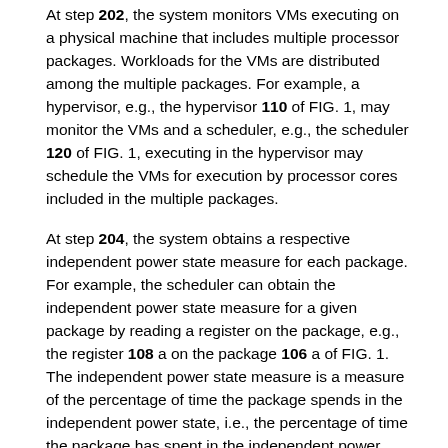At step 202, the system monitors VMs executing on a physical machine that includes multiple processor packages. Workloads for the VMs are distributed among the multiple packages. For example, a hypervisor, e.g., the hypervisor 110 of FIG. 1, may monitor the VMs and a scheduler, e.g., the scheduler 120 of FIG. 1, executing in the hypervisor may schedule the VMs for execution by processor cores included in the multiple packages.
At step 204, the system obtains a respective independent power state measure for each package. For example, the scheduler can obtain the independent power state measure for a given package by reading a register on the package, e.g., the register 108 a on the package 106 a of FIG. 1. The independent power state measure is a measure of the percentage of time the package spends in the independent power state, i.e., the percentage of time the package has spent in the independent power state during a most-recent time window of specified size, e.g., a one second time window, a two second time window, or a five second time window. Optionally, the scheduler may obtain a power state measure for each of multiple power states by reading the register on the package. That is, in